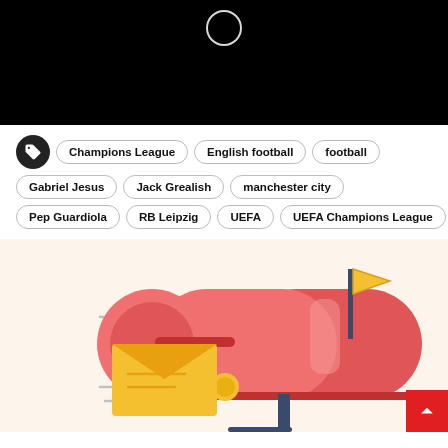[Figure (screenshot): Black video player area with a white circular loading/play indicator at the top center]
Champions League
English football
football
Gabriel Jesus
Jack Grealish
manchester city
Pep Guardiola
RB Leipzig
UEFA
UEFA Champions League
[Figure (illustration): Illustration of a red mailbox with a yellow envelope and flag on a cream background]